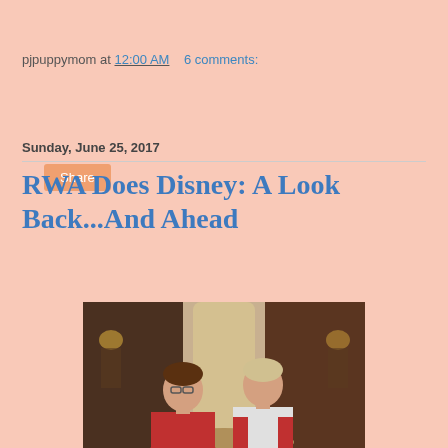pjpuppymom at 12:00 AM   6 comments:
Share
Sunday, June 25, 2017
RWA Does Disney: A Look Back...And Ahead
[Figure (photo): Two women smiling in front of a large fountain in what appears to be a hotel lobby. The woman on the left wears a red top, the woman on the right wears a white and red top.]